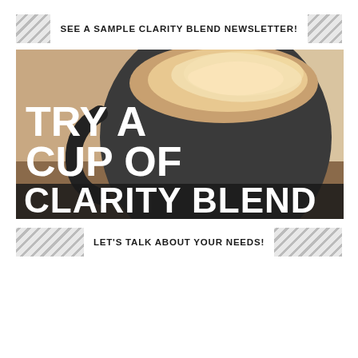SEE A SAMPLE CLARITY BLEND NEWSLETTER!
[Figure (photo): Close-up photo of a dark ceramic coffee mug filled with a latte with frothy milk foam on top, with large bold white text overlay reading TRY A CUP OF CLARITY BLEND]
LET'S TALK ABOUT YOUR NEEDS!